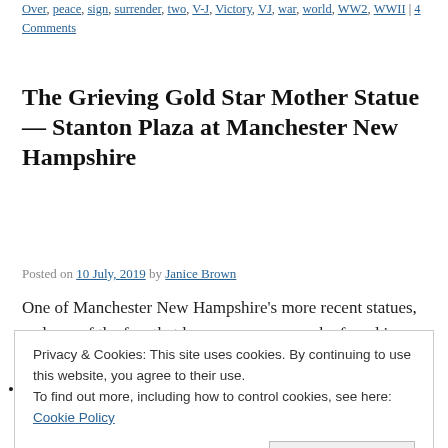Over, peace, sign, surrender, two, V-J, Victory, VJ, war, world, WW2, WWII | 4 Comments
The Grieving Gold Star Mother Statue — Stanton Plaza at Manchester New Hampshire
Posted on 10 July, 2019 by Janice Brown
One of Manchester New Hampshire's more recent statues, and one of the few that honors women, can be found in Stanton Plaza, on the southwest corner of Pleasant Street and Elm, opposite Veterans Park. Called the Grieving Gold Star Mother. … Continue reading →
Privacy & Cookies: This site uses cookies. By continuing to use this website, you agree to their use.
To find out more, including how to control cookies, see here: Cookie Policy
Close and accept
Pocket